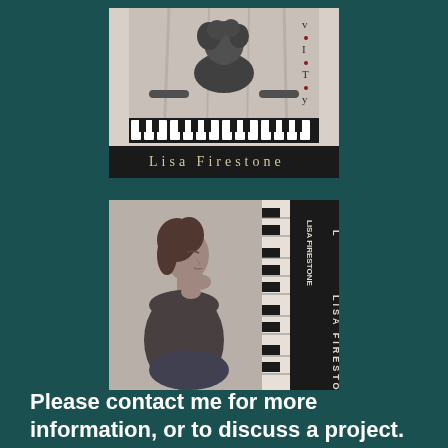[Figure (photo): Album cover for Lisa Firestone showing a woman sitting at a keyboard/piano in black and white photo, with 'Lisa Firestone' text at bottom and stylized 'V.I.T.Y' text on upper right]
[Figure (photo): Second album cover for Lisa Firestone showing a woman in profile with eyes closed, hands clasped near face, next to piano keys in black and white, with 'LISA FIRESTONE' text vertically on right side]
Please contact me for more information, or to discuss a project.